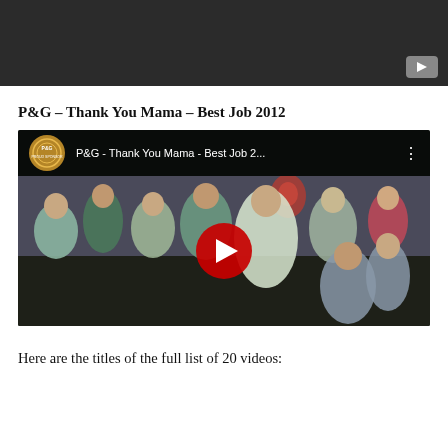[Figure (screenshot): Dark YouTube video player screenshot at top of page]
P&G – Thank You Mama – Best Job 2012
[Figure (screenshot): YouTube video thumbnail showing P&G - Thank You Mama - Best Job 2... with play button and group photo of people]
Here are the titles of the full list of 20 videos: